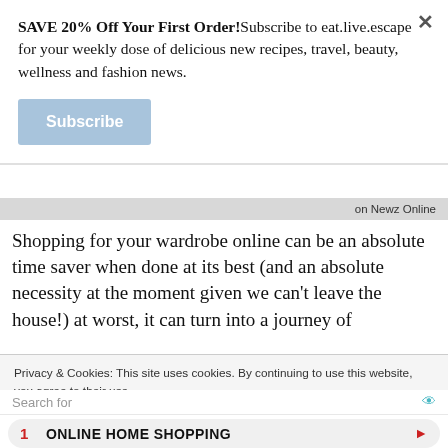SAVE 20% Off Your First Order!Subscribe to eat.live.escape for your weekly dose of delicious new recipes, travel, beauty, wellness and fashion news.
Subscribe
on Newz Online
Shopping for your wardrobe online can be an absolute time saver when done at its best (and an absolute necessity at the moment given we can't leave the house!) at worst, it can turn into a journey of
Privacy & Cookies: This site uses cookies. By continuing to use this website, you agree to their use.
To find out more, including how to control cookies, see here: Cookie
Search for
1  ONLINE HOME SHOPPING
2  ONLINE STORE WEBSITE